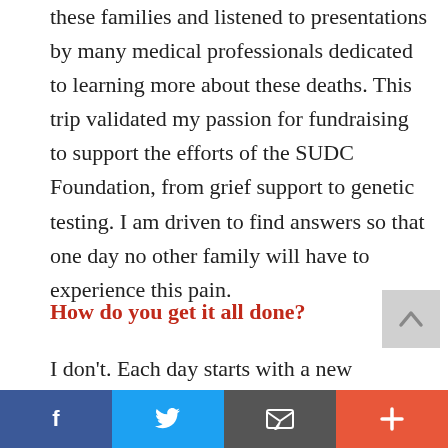these families and listened to presentations by many medical professionals dedicated to learning more about these deaths. This trip validated my passion for fundraising to support the efforts of the SUDC Foundation, from grief support to genetic testing. I am driven to find answers so that one day no other family will have to experience this pain.
How do you get it all done?
I don't. Each day starts with a new
[Figure (other): Scroll-to-top button (grey square with upward chevron arrow)]
Facebook | Twitter | Email | +